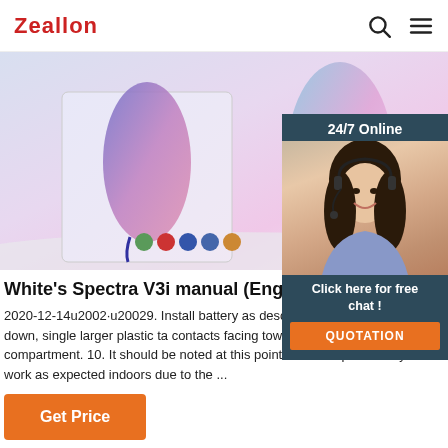Zeallon
[Figure (photo): Product photo showing colorful Bluetooth speakers and packaging box with gradient purple/blue/pink colors, with small colored button icons visible on the box]
[Figure (photo): 24/7 Online chat widget showing a woman with headset smiling, with dark teal background header '24/7 Online', 'Click here for free chat!' text, and orange QUOTATION button]
White's Spectra V3i manual (English) - Garre
2020-12-14u2002·u20029. Install battery as described section, decal facing down, single larger plastic ta contacts facing toward inside of battery compartment. 10. It should be noted at this point that the Spectra may not work as expected indoors due to the ...
Get Price